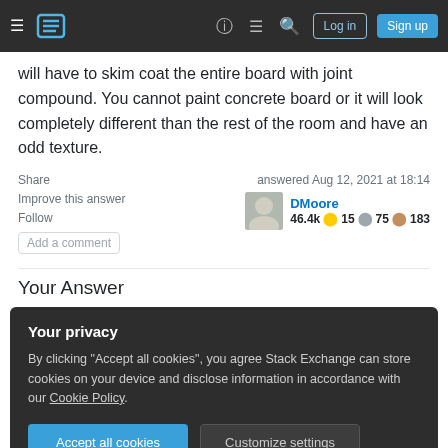Navigation bar with hamburger menu, Stack Exchange logo, help, chat, search icons, Log in and Sign up buttons
will have to skim coat the entire board with joint compound. You cannot paint concrete board or it will look completely different than the rest of the room and have an odd texture.
Share
Improve this answer
Follow
Add a comment
answered Aug 12, 2021 at 18:14
DMoore
46.4k  15  75  183
Your Answer
Your privacy
By clicking "Accept all cookies", you agree Stack Exchange can store cookies on your device and disclose information in accordance with our Cookie Policy.
Accept all cookies
Customize settings